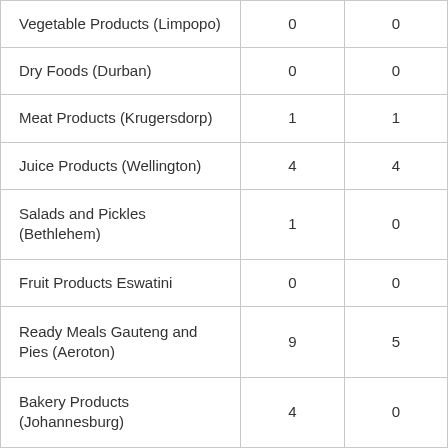| Vegetable Products (Limpopo) | 0 | 0 |
| Dry Foods (Durban) | 0 | 0 |
| Meat Products (Krugersdorp) | 1 | 1 |
| Juice Products (Wellington) | 4 | 4 |
| Salads and Pickles (Bethlehem) | 1 | 0 |
| Fruit Products Eswatini | 0 | 0 |
| Ready Meals Gauteng and Pies (Aeroton) | 9 | 5 |
| Bakery Products (Johannesburg) | 4 | 0 |